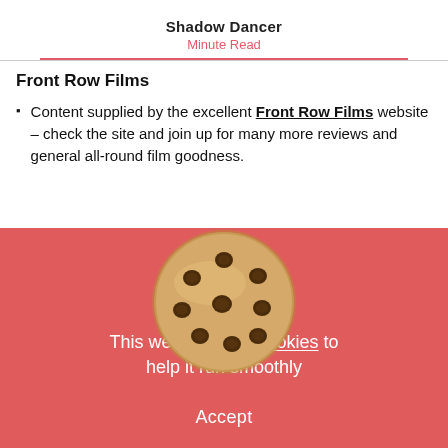Shadow Dancer
Minute Read
Front Row Films
Content supplied by the excellent Front Row Films website – check the site and join up for many more reviews and general all-round film goodness.
[Figure (illustration): A chocolate chip cookie illustration, circular, golden-brown with dark chocolate chips.]
This website uses cookies to help it run smoothly
Accept